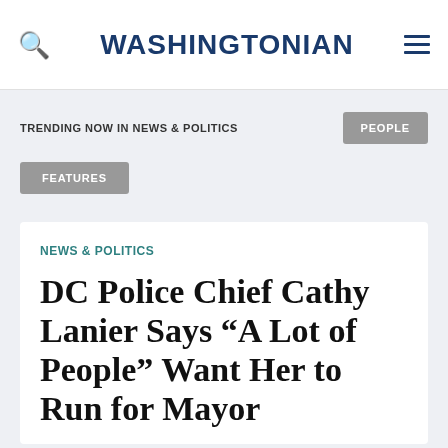WASHINGTONIAN
TRENDING NOW IN NEWS & POLITICS
PEOPLE
FEATURES
NEWS & POLITICS
DC Police Chief Cathy Lanier Says “A Lot of People” Want Her to Run for Mayor